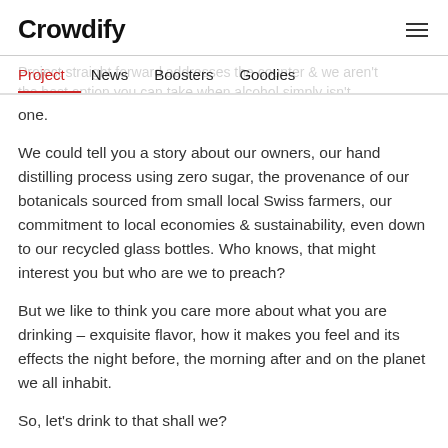Crowdify
Project | News | Boosters | Goodies
the best option you can take when alcohol simply isn't one.
We could tell you a story about our owners, our hand distilling process using zero sugar, the provenance of our botanicals sourced from small local Swiss farmers, our commitment to local economies & sustainability, even down to our recycled glass bottles. Who knows, that might interest you but who are we to preach?
But we like to think you care more about what you are drinking – exquisite flavor, how it makes you feel and its effects the night before, the morning after and on the planet we all inhabit.
So, let's drink to that shall we?
New beginnings, new habits, and a new approach to enjoyment.